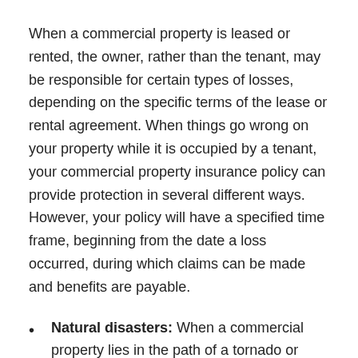When a commercial property is leased or rented, the owner, rather than the tenant, may be responsible for certain types of losses, depending on the specific terms of the lease or rental agreement. When things go wrong on your property while it is occupied by a tenant, your commercial property insurance policy can provide protection in several different ways. However, your policy will have a specified time frame, beginning from the date a loss occurred, during which claims can be made and benefits are payable.
Natural disasters: When a commercial property lies in the path of a tornado or hurricane, the owner is usually responsible for expenses such as demolition, debris removal, and rebuilding.